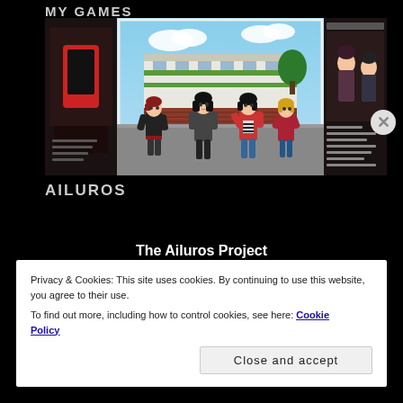MY GAMES
[Figure (screenshot): Screenshot of a visual novel game page showing anime-style characters in front of a school building, with side panels showing other game thumbnails]
AILUROS
[Figure (logo): The Ailuros Project logo with tagline: Together, we can make the world a safer place]
Privacy & Cookies: This site uses cookies. By continuing to use this website, you agree to their use.
To find out more, including how to control cookies, see here: Cookie Policy
Close and accept